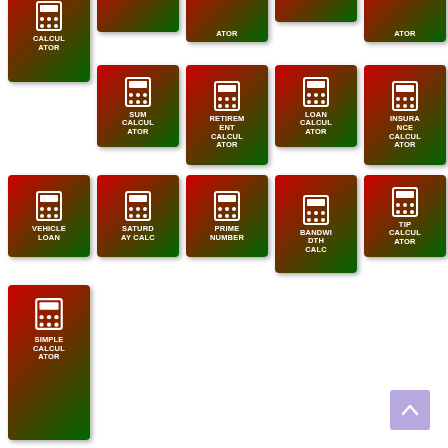[Figure (screenshot): Grid of calculator app icons including CALCUL ATOR, CALCUL ATOR, CALCUL ATOR, CALCUL ATOR, SUM CALCUL ATOR, RETIREMENT CALCUL ATOR, LOAN CALCUL ATOR, INSURANCE CALCUL ATOR, VEHICLE LOAN, SATURDAY CALC, PRIME NUMBER, BANDWIDTH CALC, TIP CALCUL ATOR, SIMPLE CALCUL ATOR. Each tile has a red-to-green gradient background with a white calculator icon.]